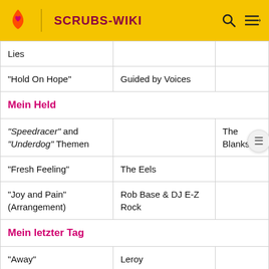SCRUBS-WIKI
| Song | Artist | Notes |
| --- | --- | --- |
| Lies |  |  |
| "Hold On Hope" | Guided by Voices |  |
| Mein Held |  |  |
| "Speedracer" and "Underdog" Themen |  | The Blanks |
| "Fresh Feeling" | The Eels |  |
| "Joy and Pain" (Arrangement) | Rob Base & DJ E-Z Rock |  |
| Mein letzter Tag |  |  |
| "Away" | Leroy |  |
| "Only One" | Jeremy Kay |  |